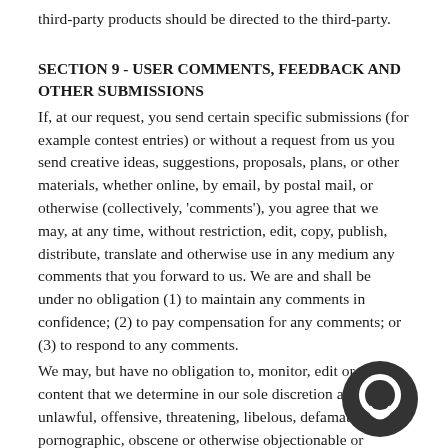third-party products should be directed to the third-party.
SECTION 9 - USER COMMENTS, FEEDBACK AND OTHER SUBMISSIONS
If, at our request, you send certain specific submissions (for example contest entries) or without a request from us you send creative ideas, suggestions, proposals, plans, or other materials, whether online, by email, by postal mail, or otherwise (collectively, 'comments'), you agree that we may, at any time, without restriction, edit, copy, publish, distribute, translate and otherwise use in any medium any comments that you forward to us. We are and shall be under no obligation (1) to maintain any comments in confidence; (2) to pay compensation for any comments; or (3) to respond to any comments.
We may, but have no obligation to, monitor, edit or remove content that we determine in our sole discretion are unlawful, offensive, threatening, libelous, defamatory, pornographic, obscene or otherwise objectionable or violates any party's intellectual property or these Terms of Service.
You agree that your comments will not violate any right of any